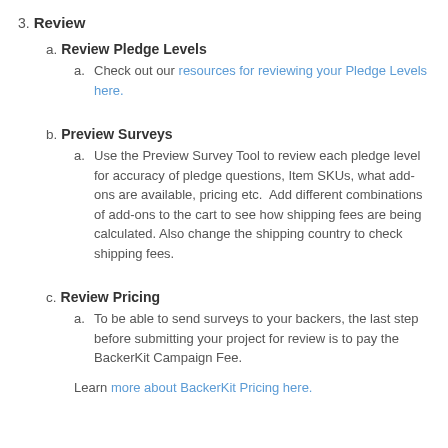3. Review
a. Review Pledge Levels
a. Check out our resources for reviewing your Pledge Levels here.
b. Preview Surveys
a. Use the Preview Survey Tool to review each pledge level for accuracy of pledge questions, Item SKUs, what add-ons are available, pricing etc.  Add different combinations of add-ons to the cart to see how shipping fees are being calculated. Also change the shipping country to check shipping fees.
c. Review Pricing
a. To be able to send surveys to your backers, the last step before submitting your project for review is to pay the BackerKit Campaign Fee.
Learn more about BackerKit Pricing here.